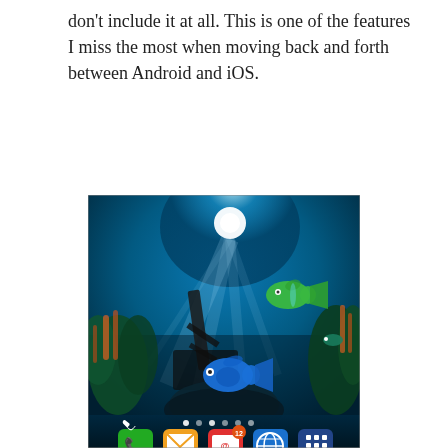don't include it at all. This is one of the features I miss the most when moving back and forth between Android and iOS.
[Figure (screenshot): Android smartphone screenshot showing an underwater live wallpaper with colorful fish, coral, and sunrays, along with a bottom dock bar with icons for Phone, Email, Mail (with badge 12), Browser, and App Drawer.]